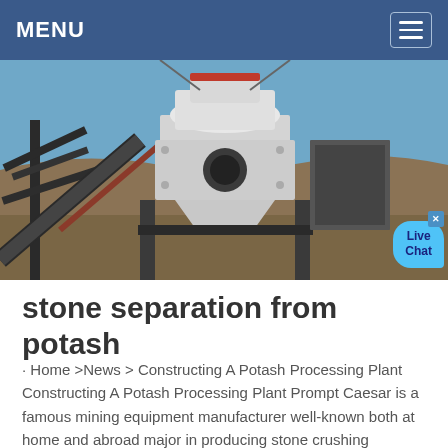MENU
[Figure (photo): Industrial stone crushing / potash processing plant machinery photographed outdoors. Shows large cone crusher or similar industrial equipment on a steel frame structure with conveyor belts, under a clear blue sky.]
stone separation from potash
· Home >News > Constructing A Potash Processing Plant Constructing A Potash Processing Plant Prompt Caesar is a famous mining equipment manufacturer well-known both at home and abroad major in producing stone crushing